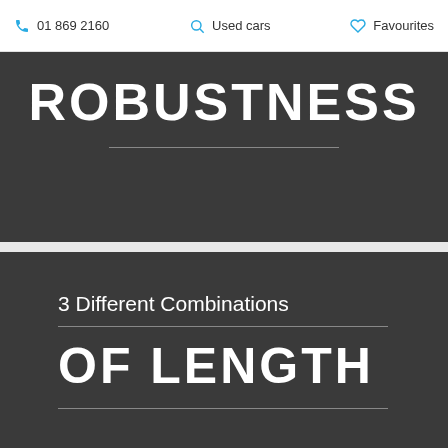01 869 2160  Used cars  Favourites
ROBUSTNESS
3 Different Combinations
OF LENGTH